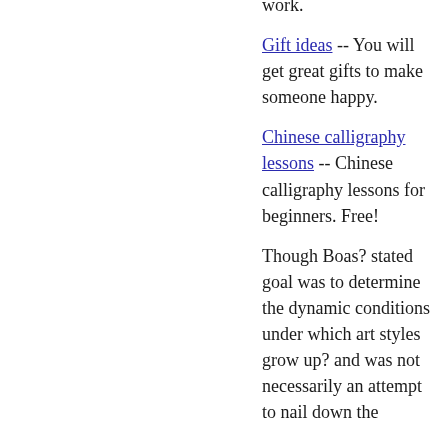work.
Gift ideas -- You will get great gifts to make someone happy.
Chinese calligraphy lessons -- Chinese calligraphy lessons for beginners. Free!
Though Boas? stated goal was to determine the dynamic conditions under which art styles grow up? and was not necessarily an attempt to nail down the